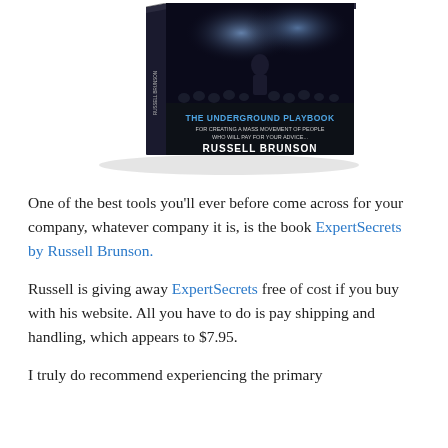[Figure (illustration): Book cover image of 'The Underground Playbook for Creating a Mass Movement of People Who Will Pay for Your Advice' by Russell Brunson, shown as a 3D book standing upright with a dark dramatic background showing a speaker on stage in front of an audience.]
One of the best tools you'll ever before come across for your company, whatever company it is, is the book ExpertSecrets by Russell Brunson.
Russell is giving away ExpertSecrets free of cost if you buy with his website. All you have to do is pay shipping and handling, which appears to $7.95.
I truly do recommend experiencing the primary